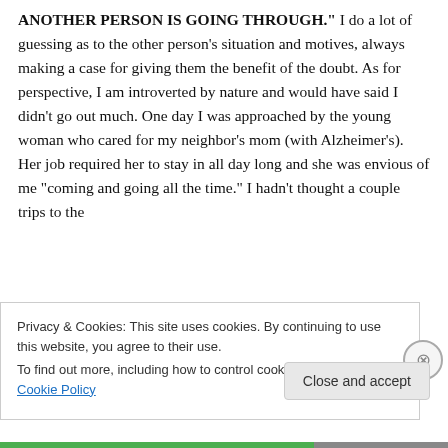ANOTHER PERSON IS GOING THROUGH." I do a lot of guessing as to the other person's situation and motives, always making a case for giving them the benefit of the doubt. As for perspective, I am introverted by nature and would have said I didn't go out much. One day I was approached by the young woman who cared for my neighbor's mom (with Alzheimer's). Her job required her to stay in all day long and she was envious of me "coming and going all the time." I hadn't thought a couple trips to the
Privacy & Cookies: This site uses cookies. By continuing to use this website, you agree to their use.
To find out more, including how to control cookies, see here: Cookie Policy